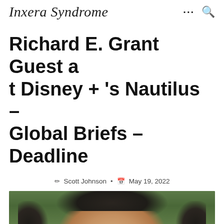Inxera Syndrome
Richard E. Grant Guest at Disney + 's Nautilus – Global Briefs – Deadline
Scott Johnson • May 19, 2022
[Figure (photo): Close-up photo of a man's head showing dark hair with some grey, against a blurred green background]